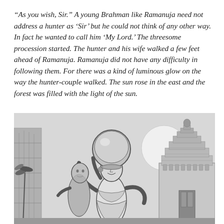“As you wish, Sir.” A young Brahman like Ramanuja need not address a hunter as ‘Sir’ but he could not think of any other way. In fact he wanted to call him ‘My Lord.’ The threesome procession started. The hunter and his wife walked a few feet ahead of Ramanuja. Ramanuja did not have any difficulty in following them. For there was a kind of luminous glow on the way the hunter-couple walked. The sun rose in the east and the forest was filled with the light of the sun.
[Figure (illustration): Black and white ink illustration showing a figure carrying a large round vessel on their head, with an ornate South Indian temple gopuram (tower) in the background. The style is detailed line art.]